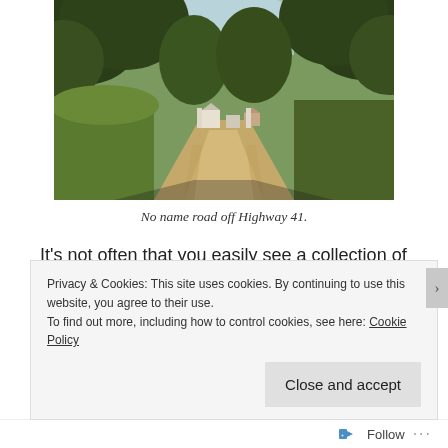[Figure (photo): A dirt road flanked by tall green trees and grass leading toward buildings in the distance, viewed from inside a vehicle. Light blue sky visible through the tree canopy.]
No name road off Highway 41.
It’s not often that you easily see a collection of buildings from the highway, but I had seen a few while traveling
Privacy & Cookies: This site uses cookies. By continuing to use this website, you agree to their use.
To find out more, including how to control cookies, see here: Cookie Policy
Close and accept
Follow ...